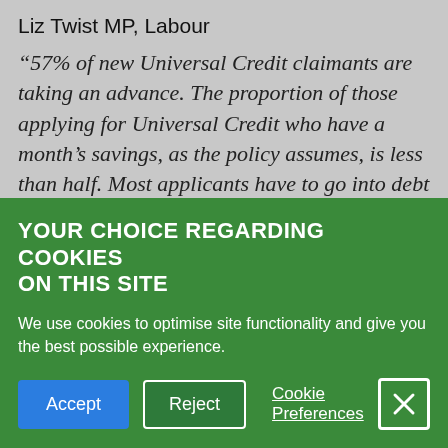Liz Twist MP, Labour
“57% of new Universal Credit claimants are taking an advance. The proportion of those applying for Universal Credit who have a month’s savings, as the policy assumes, is less than half. Most applicants have to go into debt to the DWP and take an advance to stay afloat in the first five weeks. Having been forced into debt in that way
YOUR CHOICE REGARDING COOKIES ON THIS SITE
We use cookies to optimise site functionality and give you the best possible experience.
Accept | Reject | Cookie Preferences | [X]